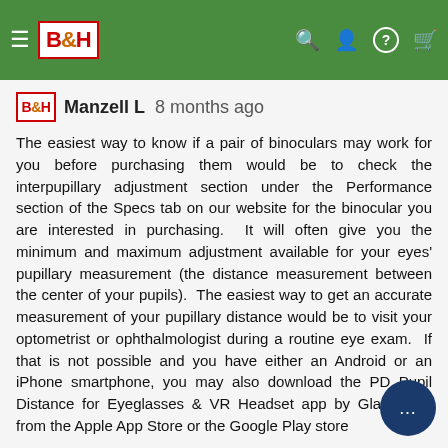B&H navigation bar with hamburger menu, B&H logo, search, account, help, and cart icons
Manzell L  8 months ago
The easiest way to know if a pair of binoculars may work for you before purchasing them would be to check the interpupillary adjustment section under the Performance section of the Specs tab on our website for the binocular you are interested in purchasing.  It will often give you the minimum and maximum adjustment available for your eyes' pupillary measurement (the distance measurement between the center of your pupils).  The easiest way to get an accurate measurement of your pupillary distance would be to visit your optometrist or ophthalmologist during a routine eye exam.  If that is not possible and you have either an Android or an iPhone smartphone, you may also download the PD Pupil Distance for Eyeglasses & VR Headset app by GlassifyMe from the Apple App Store or the Google Play store